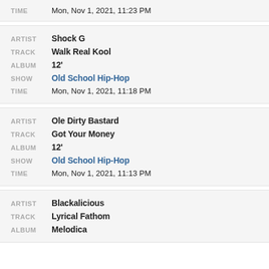TIME  Mon, Nov 1, 2021, 11:23 PM
ARTIST  Shock G
TRACK  Walk Real Kool
ALBUM  12'
SHOW  Old School Hip-Hop
TIME  Mon, Nov 1, 2021, 11:18 PM
ARTIST  Ole Dirty Bastard
TRACK  Got Your Money
ALBUM  12'
SHOW  Old School Hip-Hop
TIME  Mon, Nov 1, 2021, 11:13 PM
ARTIST  Blackalicious
TRACK  Lyrical Fathom
ALBUM  Melodica